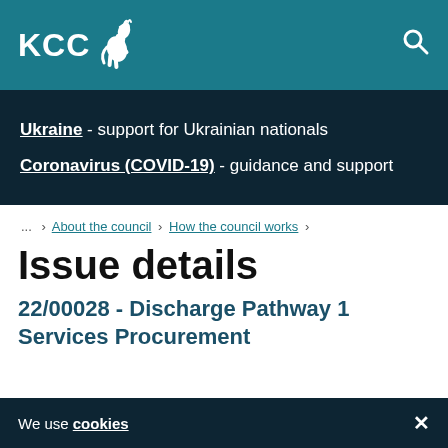KCC - Kent County Council logo and search icon
Ukraine - support for Ukrainian nationals
Coronavirus (COVID-19) - guidance and support
... > About the council > How the council works >
Issue details
22/00028 - Discharge Pathway 1 Services Procurement
We use cookies ×